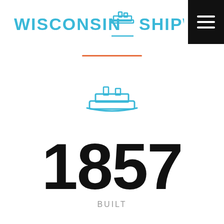[Figure (logo): Wisconsin Shipwrecks logo with cyan text and ship icon, plus hamburger menu on black background]
[Figure (illustration): Cyan outline icon of a ship/steamboat]
1857
BUILT